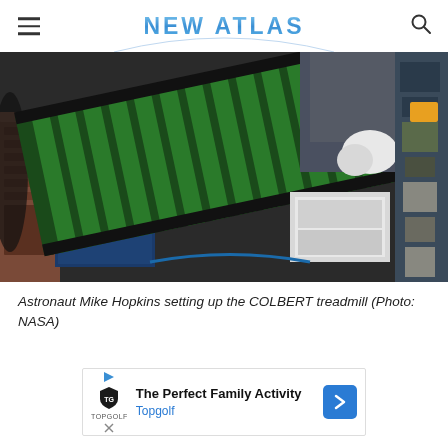NEW ATLAS
[Figure (photo): Astronaut Mike Hopkins setting up the COLBERT treadmill inside the International Space Station, holding equipment with gloved hands, surrounded by ISS interior panels and equipment (Photo: NASA)]
Astronaut Mike Hopkins setting up the COLBERT treadmill (Photo: NASA)
[Figure (infographic): Advertisement banner for Topgolf: 'The Perfect Family Activity' with Topgolf logo and blue arrow button]